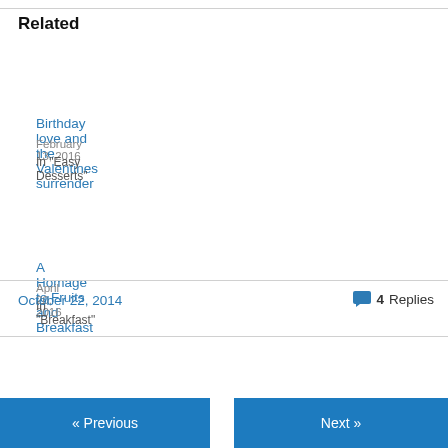Related
Birthday love and the Valentines surrender
February 13, 2016
In "Easy Desserts"
A Homage to Fruits and Breakfast
April 20, 2016
In "Breakfast"
Finally! Super riche vegan Cheesecake!
September 30, 2017
In "Cheesecake"
October 22, 2014
4 Replies
« Previous
Next »